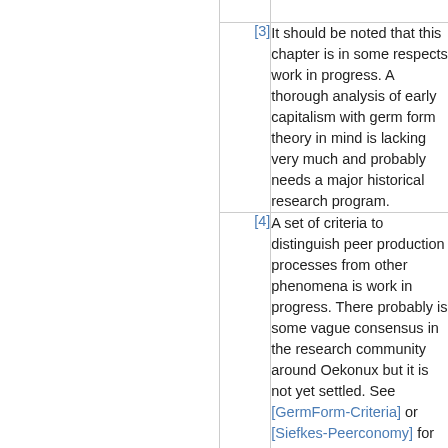[3] It should be noted that this chapter is in some respects work in progress. A thorough analysis of early capitalism with germ form theory in mind is lacking very much and probably needs a major historical research program.
[4] A set of criteria to distinguish peer production processes from other phenomena is work in progress. There probably is some vague consensus in the research community around Oekonux but it is not yet settled. See [GermForm-Criteria] or [Siefkes-Peerconomy] for some suggestions.
[5] In fact there are peer production projects which have one or another